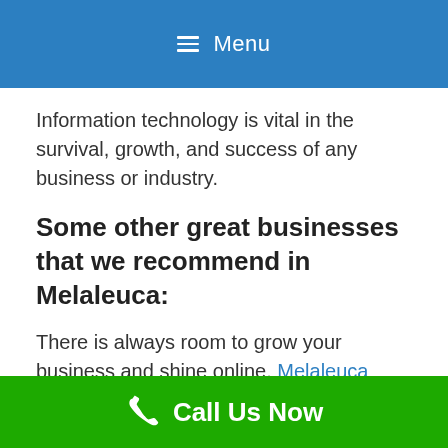☰ Menu
Information technology is vital in the survival, growth, and success of any business or industry.
Some other great businesses that we recommend in Melaleuca:
There is always room to grow your business and shine online. Melaleuca SEO Services take a holistic approach that integrates all business processes to achieve the goal of converting website visitors into paying clients.
Call Us Now